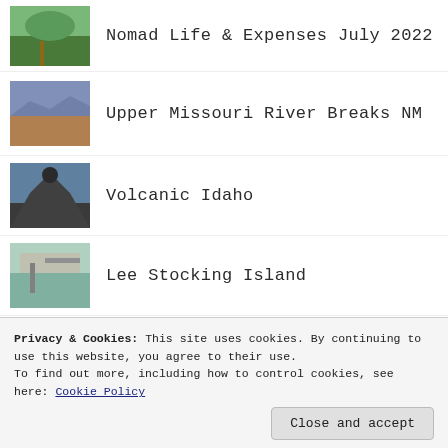Nomad Life & Expenses July 2022
Upper Missouri River Breaks NM
Volcanic Idaho
Lee Stocking Island
Hawksbill Cay
The Comer Channel
Privacy & Cookies: This site uses cookies. By continuing to use this website, you agree to their use.
To find out more, including how to control cookies, see here: Cookie Policy
Close and accept